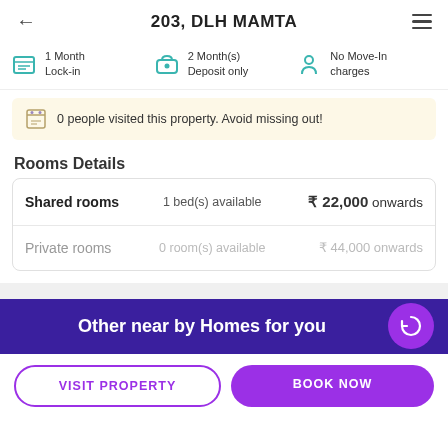203, DLH MAMTA
1 Month Lock-in | 2 Month(s) Deposit only | No Move-In charges
0 people visited this property. Avoid missing out!
Rooms Details
| Type | Availability | Price |
| --- | --- | --- |
| Shared rooms | 1 bed(s) available | ₹ 22,000 onwards |
| Private rooms | 0 room(s) available | ₹ 44,000 onwards |
Other near by Homes for you
VISIT PROPERTY
BOOK NOW